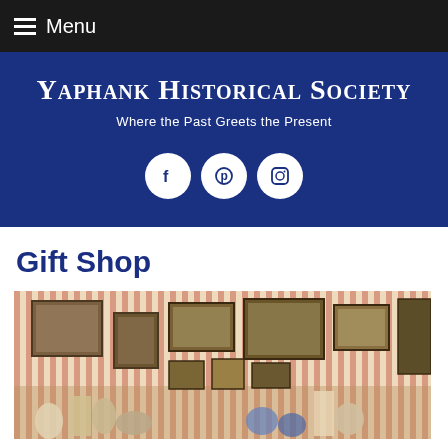Menu
Yaphank Historical Society
Where the Past Greets the Present
[Figure (infographic): Three circular social media icons (Facebook, Pinterest, Instagram) on dark blue background]
Gift Shop
[Figure (photo): Interior of gift shop showing walls covered with framed artwork and paintings in various sizes on striped wallpaper, with shelves of collectibles and decorative items in the foreground]